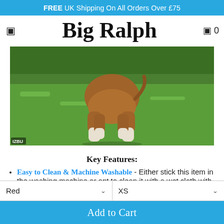FREE UK Shipping On All Orders Over £75
Big Ralph
[Figure (photo): A dog (likely a boxer/bull breed) walking on grass, showing its legs and lower body from behind. A green hedge is visible in the background. The image has a watermark-style label in the bottom-left corner.]
Key Features:
Easy to Clean & Machine Washable - Either stick this item in the washing machine or opt to clean it with a wet cloth with a few wipes
Waterproof - Of course, it's waterproof. It's in
Red ˅   XS ˅
Add to Cart